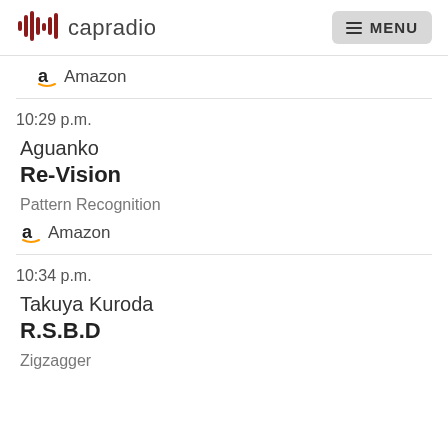capradio  MENU
Amazon
10:29 p.m.
Aguanko
Re-Vision
Pattern Recognition
Amazon
10:34 p.m.
Takuya Kuroda
R.S.B.D
Zigzagger